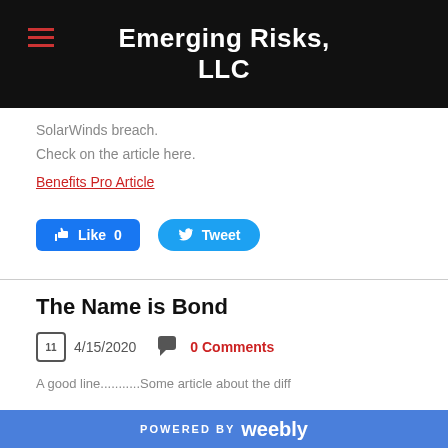Emerging Risks, LLC
SolarWinds breach.
Check on the article here.
Benefits Pro Article
[Figure (screenshot): Facebook Like button (Like 0) and Twitter Tweet button]
The Name is Bond
4/15/2020   0 Comments
POWERED BY weebly